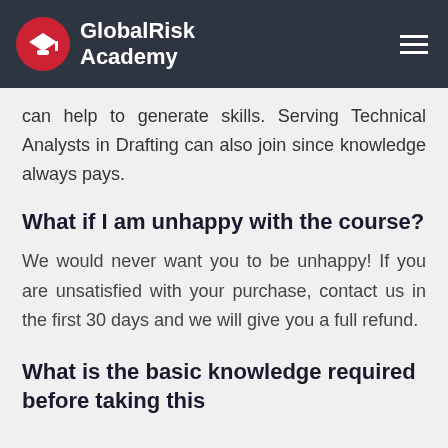GlobalRisk Academy
can help to generate skills. Serving Technical Analysts in Drafting can also join since knowledge always pays.
What if I am unhappy with the course?
We would never want you to be unhappy! If you are unsatisfied with your purchase, contact us in the first 30 days and we will give you a full refund.
What is the basic knowledge required before taking this